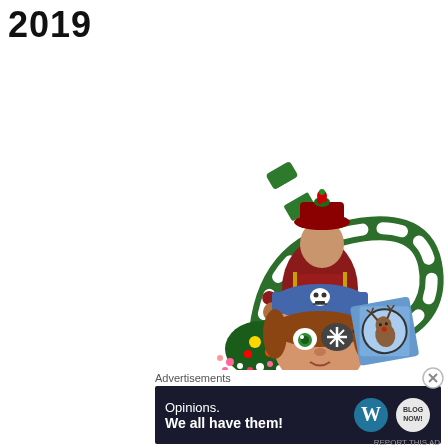2019
[Figure (illustration): Video game pirate character wearing red and green Christmas hat holding a large candy cane (green and white striped), with holiday items scattered below. Below that is a close-up of a pirate character with blue bandana, skull emblem, and snowflake eye patch, with green eyes, next to a decorative patch/badge with a reindeer illustration on a blue background.]
Advertisements
[Figure (other): Advertisement banner with dark navy background. Text reads: Opinions. We all have them! with WordPress logo (W in circle) and another circular logo on the right.]